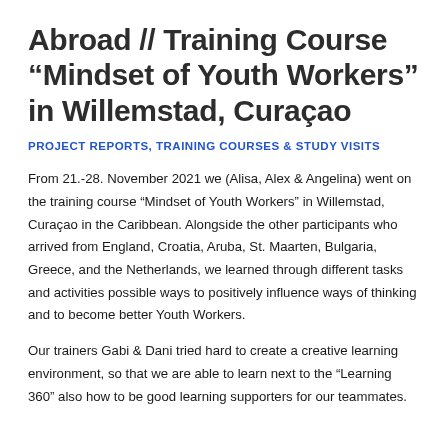Abroad // Training Course “Mindset of Youth Workers” in Willemstad, Curaçao
PROJECT REPORTS, TRAINING COURSES & STUDY VISITS
From 21.-28. November 2021 we (Alisa, Alex & Angelina) went on the training course “Mindset of Youth Workers” in Willemstad, Curaçao in the Caribbean. Alongside the other participants who arrived from England, Croatia, Aruba, St. Maarten, Bulgaria, Greece, and the Netherlands, we learned through different tasks and activities possible ways to positively influence ways of thinking and to become better Youth Workers.
Our trainers Gabi & Dani tried hard to create a creative learning environment, so that we are able to learn next to the “Learning 360” also how to be good learning supporters for our teammates.